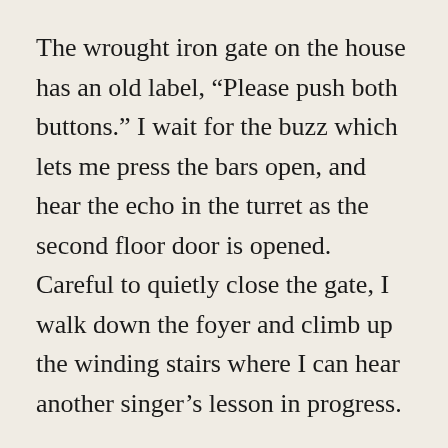The wrought iron gate on the house has an old label, “Please push both buttons.” I wait for the buzz which lets me press the bars open, and hear the echo in the turret as the second floor door is opened. Careful to quietly close the gate, I walk down the foyer and climb up the winding stairs where I can hear another singer’s lesson in progress.
I dump my burdens on the floor, close the door, and head into the kitchen to select a mug and a tea bag. I imagine most of us have a favorite. The cups are  souvenirs from productions or festivals. Of course, I favor one or two from places I’ve been. Peppermint. Always. A turn of the knob on the